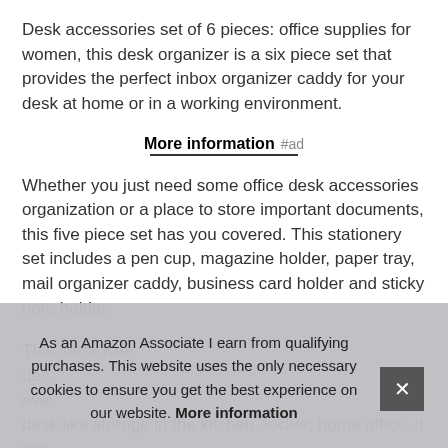Desk accessories set of 6 pieces: office supplies for women, this desk organizer is a six piece set that provides the perfect inbox organizer caddy for your desk at home or in a working environment.
More information #ad
Whether you just need some office desk accessories organization or a place to store important documents, this five piece set has you covered. This stationery set includes a pen cup, magazine holder, paper tray, mail organizer caddy, business card holder and sticky note holder.
This [partially obscured] desk [partially obscured] Kee[partially obscured] dec[partially obscured] eve[partially obscured] desk like storage in the kitchen, locker, home office, it can
As an Amazon Associate I earn from qualifying purchases. This website uses the only necessary cookies to ensure you get the best experience on our website. More information